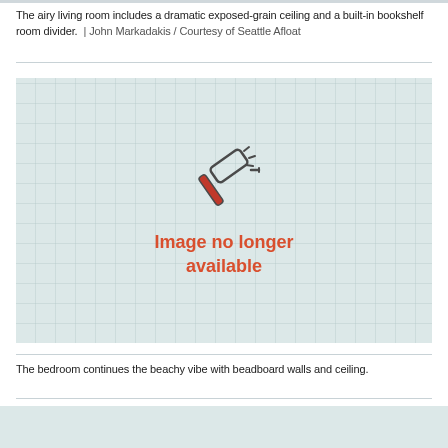The airy living room includes a dramatic exposed-grain ceiling and a built-in bookshelf room divider.  |  John Markadakis / Courtesy of Seattle Afloat
[Figure (photo): Image placeholder with a hammer icon and text reading 'Image no longer available' on a light teal grid background]
The bedroom continues the beachy vibe with beadboard walls and ceiling.